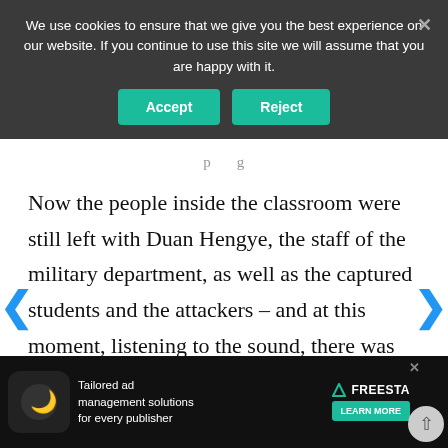We use cookies to ensure that we give you the best experience on our website. If you continue to use this site we will assume that you are happy with it.
Accept | Reject
Now the people inside the classroom were still left with Duan Hengye, the staff of the military department, as well as the captured students and the attackers – and at this moment, listening to the sound, there was obviously only one person behind him.
“P...an Duan... Duan?”
[Figure (infographic): Advertisement banner for Tailored ad management solutions for every publisher, featuring Freesta branding and a Learn More button]